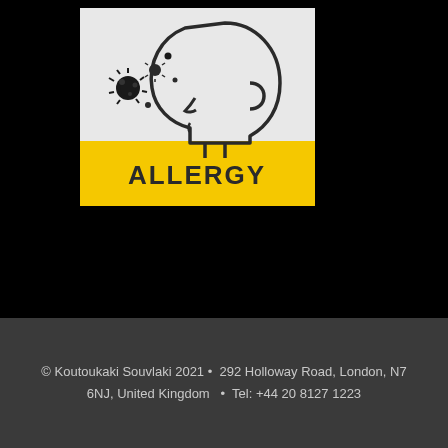[Figure (illustration): An illustration of a human head profile (side view, facing left) with pollen/allergen particles floating in front of the nose and mouth area. Below the illustration is a yellow banner with the text ALLERGY in dark letters.]
© Koutoukaki Souvlaki 2021 •  292 Holloway Road, London, N7 6NJ, United Kingdom  •  Tel: +44 20 8127 1223